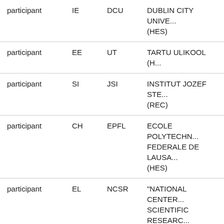| participant | IE | DCU | DUBLIN CITY UNIVE... (HES) |
| participant | EE | UT | TARTU ULIKOOL (H... |
| participant | SI | JSI | INSTITUT JOZEF STE... (REC) |
| participant | CH | EPFL | ECOLE POLYTECHN... FEDERALE DE LAUSA... (HES) |
| participant | EL | NCSR | "NATIONAL CENTER... SCIENTIFIC RESEARC... ""DEMOKRITOS""" (... |
| participant | DE | FZJ | FORSCHUNGSZENTE... JULICH GMBH (REC) |
| participant | IT | ENEA | AGENZIA NAZIONAL... LE NUOVE TECNOLO... L'ENERGIA E LO SVIL... |